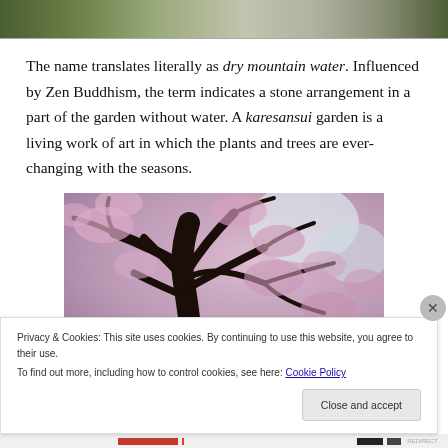[Figure (photo): Top strip of a Japanese rock garden with green moss, grey gravel/stones visible at the top edge of the page.]
The name translates literally as dry mountain water. Influenced by Zen Buddhism, the term indicates a stone arrangement in a part of the garden without water. A karesansui garden is a living work of art in which the plants and trees are ever-changing with the seasons.
[Figure (photo): A cherry blossom tree with dark twisted branches covered in pink flowers, photographed from below looking up, filling the frame.]
Privacy & Cookies: This site uses cookies. By continuing to use this website, you agree to their use.
To find out more, including how to control cookies, see here: Cookie Policy